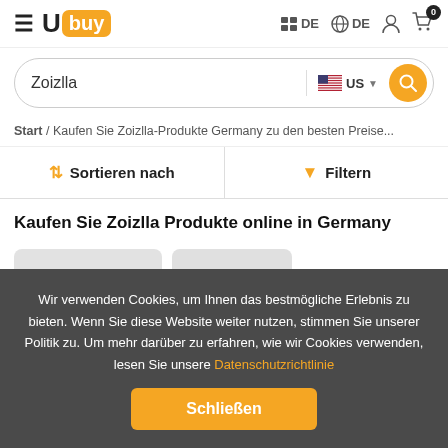Ubuy DE DE (cart: 0)
Zoizlla — US search bar
Start / Kaufen Sie Zoizlla-Produkte Germany zu den besten Preise...
Sortieren nach | Filtern
Kaufen Sie Zoizlla Produkte online in Germany
[Figure (screenshot): Partial product cards visible at bottom]
Wir verwenden Cookies, um Ihnen das bestmögliche Erlebnis zu bieten. Wenn Sie diese Website weiter nutzen, stimmen Sie unserer Politik zu. Um mehr darüber zu erfahren, wie wir Cookies verwenden, lesen Sie unsere Datenschutzrichtlinie
Schließen